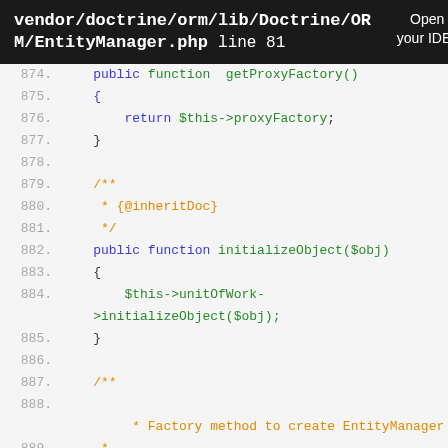vendor/doctrine/orm/lib/Doctrine/ORM/EntityManager.php line 81  Open in your IDE?
[Figure (screenshot): PHP source code viewer showing lines 874-889 of EntityManager.php with syntax highlighting. Lines show getProxyFactory() method return statement, inheritDoc comment block, initializeObject($obj) method with unitOfWork call, and start of Factory method PHPDoc comment.]